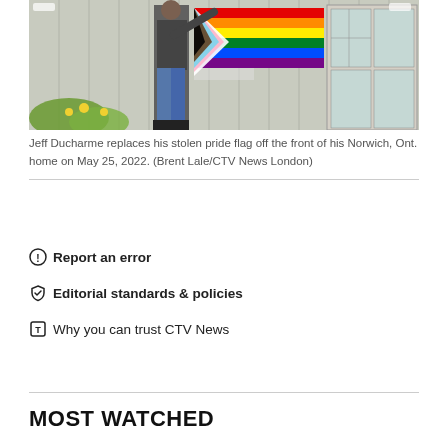[Figure (photo): Person hanging a progress pride flag (rainbow with brown, black, and transgender stripes) on the exterior wall of a house. Yellow flowers visible in the foreground, windows on the right.]
Jeff Ducharme replaces his stolen pride flag off the front of his Norwich, Ont. home on May 25, 2022. (Brent Lale/CTV News London)
Report an error
Editorial standards & policies
Why you can trust CTV News
MOST WATCHED